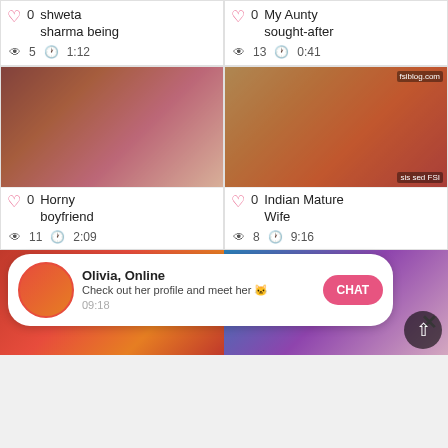[Figure (screenshot): Video thumbnail grid of adult content website showing partial top row, two middle video cards with thumbnails, bottom row partial, and chat popup overlay]
shweta sharma being
My Aunty sought-after
♡ 0  👁 5  🕐 1:12
♡ 0  👁 13  🕐 0:41
Horny boyfriend
Indian Mature Wife
♡ 0  👁 11  🕐 2:09
♡ 0  👁 8  🕐 9:16
Olivia, Online
Check out her profile and meet her 🐱
09:18
CHAT